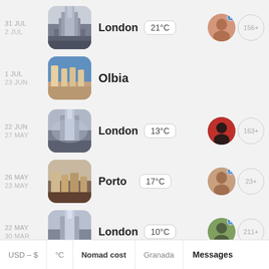31 JUL / 2 JUL — London 21°C — 156+
1 JUL / 23 JUN — Olbia
22 JUN / 27 MAY — London 13°C — 163+
26 MAY / 23 MAY — Porto 17°C — 23+
22 MAY / 30 MAR — London 10°C — 211+
Granada (partial)
USD – $ | °C | Nomad cost | Granada | Messages